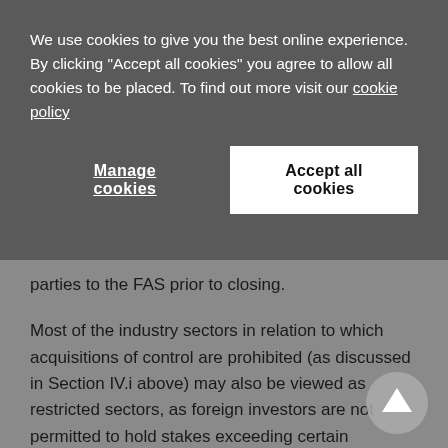We use cookies to give you the best online experience. By clicking "Accept all cookies" you agree to allow all cookies to be placed. To find out more visit our cookie policy
Manage cookies
Accept all cookies
parties to the FAS prior to closing.
Most of the industry sectors in relation to which acquisitions of control are prohibited (as discussed in Section IV.i above) may also be viewed as restricted sectors, as foreign investors are not permitted to hold stakes exceeding certain thresholds in companies operating in those sectors, such as 49 per cent for companies active in the insurance and aviation sectors or 20 per cent for mass